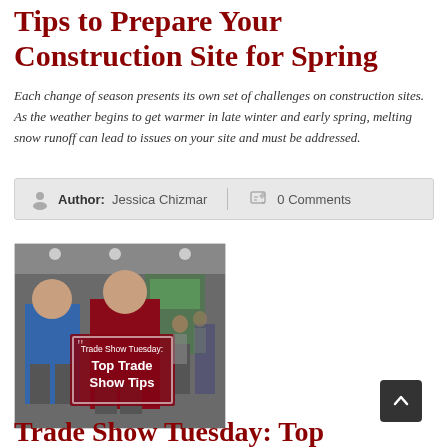Tips to Prepare Your Construction Site for Spring
Each change of season presents its own set of challenges on construction sites. As the weather begins to get warmer in late winter and early spring, melting snow runoff can lead to issues on your site and must be addressed.
Author: Jessica Chizmar   0 Comments
[Figure (photo): Two men at a trade show, one holding a dark red sign that reads 'Trade Show Tuesday: Top Trade Show Tips']
Trade Show Tuesday: Top